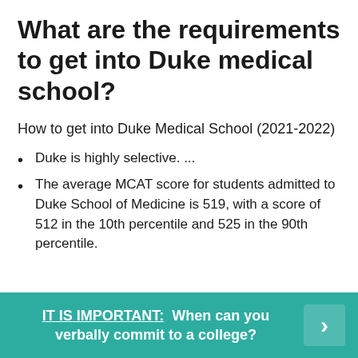What are the requirements to get into Duke medical school?
How to get into Duke Medical School (2021-2022)
Duke is highly selective. ...
The average MCAT score for students admitted to Duke School of Medicine is 519, with a score of 512 in the 10th percentile and 525 in the 90th percentile.
IT IS IMPORTANT:  When can you verbally commit to a college?